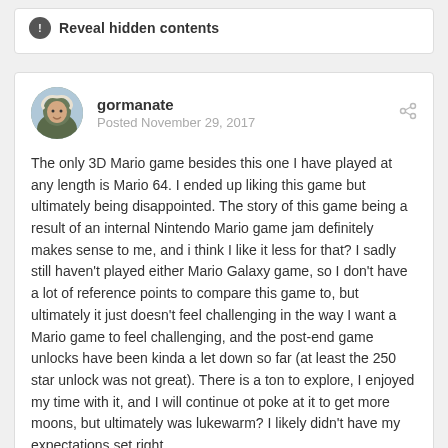Reveal hidden contents
gormanate
Posted November 29, 2017
The only 3D Mario game besides this one I have played at any length is Mario 64. I ended up liking this game but ultimately being disappointed. The story of this game being a result of an internal Nintendo Mario game jam definitely makes sense to me, and i think I like it less for that? I sadly still haven't played either Mario Galaxy game, so I don't have a lot of reference points to compare this game to, but ultimately it just doesn't feel challenging in the way I want a Mario game to feel challenging, and the post-end game unlocks have been kinda a let down so far (at least the 250 star unlock was not great). There is a ton to explore, I enjoyed my time with it, and I will continue ot poke at it to get more moons, but ultimately was lukewarm? I likely didn't have my expectations set right.